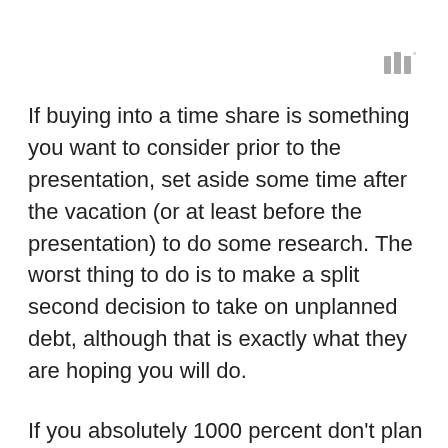[Figure (logo): Small logo mark resembling three vertical bars with a superscript degree symbol, in gray]
If buying into a time share is something you want to consider prior to the presentation, set aside some time after the vacation (or at least before the presentation) to do some research. The worst thing to do is to make a split second decision to take on unplanned debt, although that is exactly what they are hoping you will do.
If you absolutely 1000 percent don’t plan to buy no matter what, make sure you both agree on this before you start.